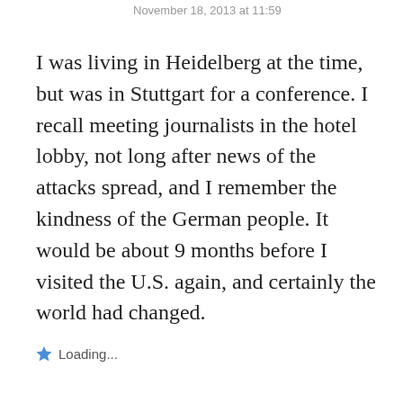November 18, 2013 at 11:59
I was living in Heidelberg at the time, but was in Stuttgart for a conference. I recall meeting journalists in the hotel lobby, not long after news of the attacks spread, and I remember the kindness of the German people. It would be about 9 months before I visited the U.S. again, and certainly the world had changed.
Loading...
Reply